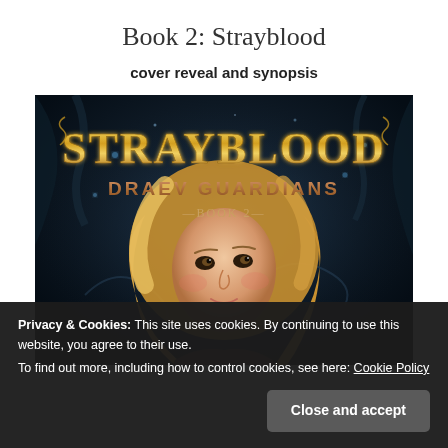Book 2: Strayblood
cover reveal and synopsis
[Figure (illustration): Book cover for 'Strayblood: Draev Guardians Book 2' showing fantasy artwork with golden decorative title text, subtitle 'DRAEV GUARDIANS' and '—BOOK 2—' beneath, featuring a young blonde woman looking upward against a dark mystical background with glowing elements]
Privacy & Cookies: This site uses cookies. By continuing to use this website, you agree to their use.
To find out more, including how to control cookies, see here: Cookie Policy
Close and accept